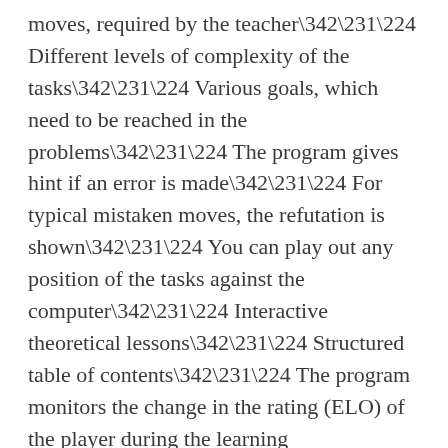moves, required by the teacher\342\231\224 Different levels of complexity of the tasks\342\231\224 Various goals, which need to be reached in the problems\342\231\224 The program gives hint if an error is made\342\231\224 For typical mistaken moves, the refutation is shown\342\231\224 You can play out any position of the tasks against the computer\342\231\224 Interactive theoretical lessons\342\231\224 Structured table of contents\342\231\224 The program monitors the change in the rating (ELO) of the player during the learning process\342\231\224 Test mode with flexible settings\342\231\224 Possibility to bookmark favorite exercises\342\231\224 The application is adapted to different age groups\342\231\224 The